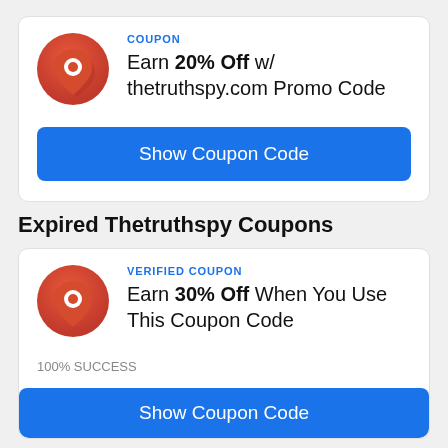COUPON
Earn 20% Off w/ thetruthspy.com Promo Code
Show Coupon Code
Expired Thetruthspy Coupons
VERIFIED COUPON
Earn 30% Off When You Use This Coupon Code
100% SUCCESS
Show Coupon Code